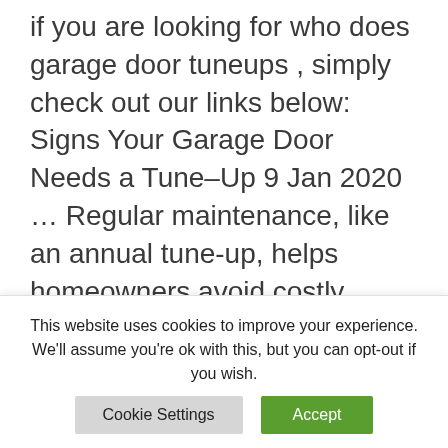if you are looking for who does garage door tuneups , simply check out our links below: Signs Your Garage Door Needs a Tune–Up 9 Jan 2020 … Regular maintenance, like an annual tune-up, helps homeowners avoid costly repairs down the road. Occasionally, garage doors require tweaks and … Garage Door Tune–Up (DIY) | Family Handyman … Read more
how to fix garage door not opening all
This website uses cookies to improve your experience. We'll assume you're ok with this, but you can opt-out if you wish.